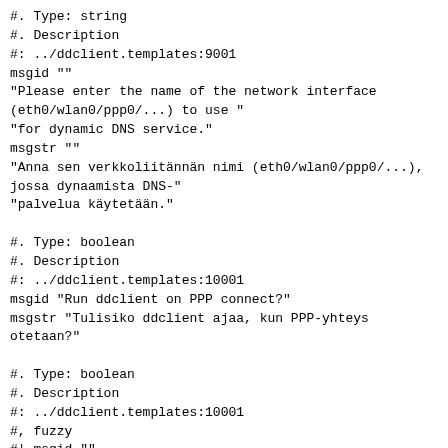#. Type: string
#. Description
#: ../ddclient.templates:9001
msgid ""
"Please enter the name of the network interface
(eth0/wlan0/ppp0/...) to use "
"for dynamic DNS service."
msgstr ""
"Anna sen verkkoliitännän nimi (eth0/wlan0/ppp0/...),
jossa dynaamista DNS-"
"palvelua käytetään."

#. Type: boolean
#. Description
#: ../ddclient.templates:10001
msgid "Run ddclient on PPP connect?"
msgstr "Tulisiko ddclient ajaa, kun PPP-yhteys
otetaan?"

#. Type: boolean
#. Description
#: ../ddclient.templates:10001
#, fuzzy
#| msgid ""
#| "You should enable this option if ddclient should be
run every time a PPP "
#| "connection is established."
msgid ""
"You should enable this option if ddclient should be
run every time a PPP "
"connection is established. Note: This mode is not